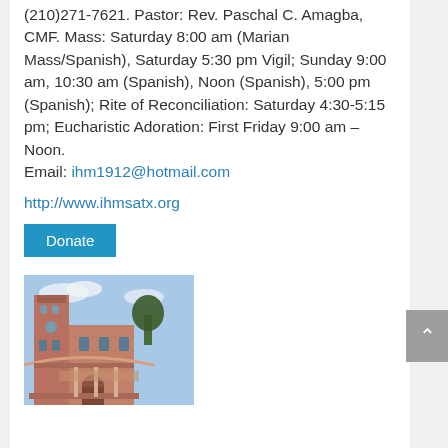(210)271-7621. Pastor: Rev. Paschal C. Amagba, CMF. Mass: Saturday 8:00 am (Marian Mass/Spanish), Saturday 5:30 pm Vigil; Sunday 9:00 am, 10:30 am (Spanish), Noon (Spanish), 5:00 pm (Spanish); Rite of Reconciliation: Saturday 4:30-5:15 pm; Eucharistic Adoration: First Friday 9:00 am – Noon.
Email: ihm1912@hotmail.com
http://www.ihmsatx.org
Donate
[Figure (photo): Photograph of a red brick church building with a tall tower, arched windows, and trees visible in the background against a partly cloudy sky.]